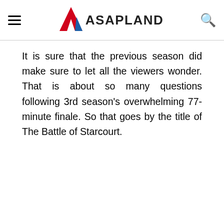ASAPLAND
It is sure that the previous season did make sure to let all the viewers wonder. That is about so many questions following 3rd season's overwhelming 77-minute finale. So that goes by the title of The Battle of Starcourt.